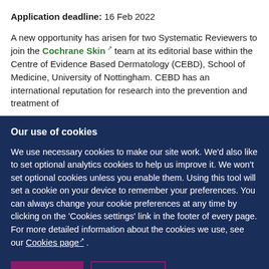Application deadline: 16 Feb 2022
A new opportunity has arisen for two Systematic Reviewers to join the Cochrane Skin team at its editorial base within the Centre of Evidence Based Dermatology (CEBD), School of Medicine, University of Nottingham. CEBD has an international reputation for research into the prevention and treatment of
Our use of cookies
We use necessary cookies to make our site work. We'd also like to set optional analytics cookies to help us improve it. We won't set optional cookies unless you enable them. Using this tool will set a cookie on your device to remember your preferences. You can always change your cookie preferences at any time by clicking on the 'Cookies settings' link in the footer of every page. For more detailed information about the cookies we use, see our Cookies page .
Accept all
Configure